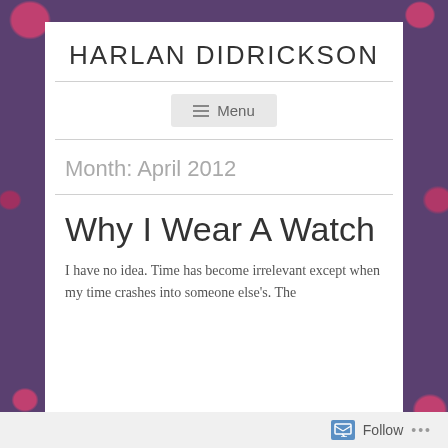HARLAN DIDRICKSON
Menu
Month: April 2012
Why I Wear A Watch
I have no idea. Time has become irrelevant except when my time crashes into someone else's. The
Follow ...